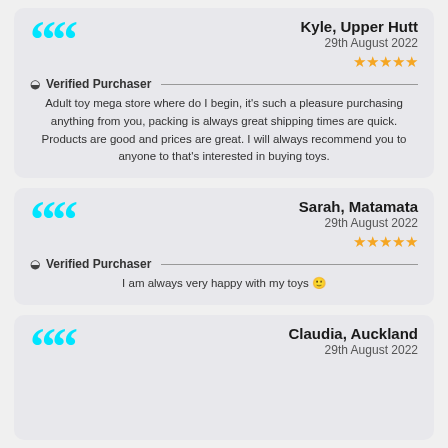Kyle, Upper Hutt
29th August 2022
★★★★★
Verified Purchaser
Adult toy mega store where do I begin, it's such a pleasure purchasing anything from you, packing is always great shipping times are quick. Products are good and prices are great. I will always recommend you to anyone to that's interested in buying toys.
Sarah, Matamata
29th August 2022
★★★★★
Verified Purchaser
I am always very happy with my toys 🙂
Claudia, Auckland
29th August 2022